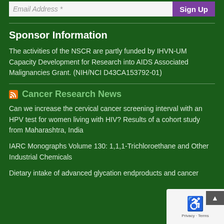Email Address * | Sign Up
Sponsor Information
The activities of the NSCR are partly funded by IHVN-UM Capacity Development for Research into AIDS Associated Malignancies Grant. (NIH/NCI D43CA153792-01)
Cancer Research News
Can we increase the cervical cancer screening interval with an HPV test for women living with HIV? Results of a cohort study from Maharashtra, India
IARC Monographs Volume 130: 1,1,1-Trichloroethane and Other Industrial Chemicals
Dietary intake of advanced glycation endproducts and cancer